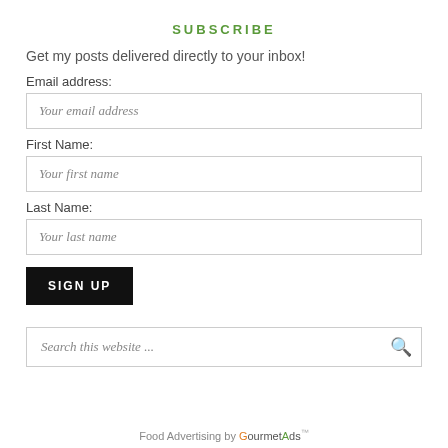SUBSCRIBE
Get my posts delivered directly to your inbox!
Email address:
Your email address
First Name:
Your first name
Last Name:
Your last name
SIGN UP
Search this website ...
Food Advertising by GourmetAds